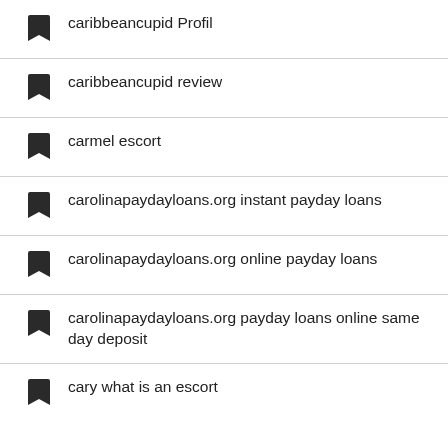caribbeancupid Profil
caribbeancupid review
carmel escort
carolinapaydayloans.org instant payday loans
carolinapaydayloans.org online payday loans
carolinapaydayloans.org payday loans online same day deposit
cary what is an escort